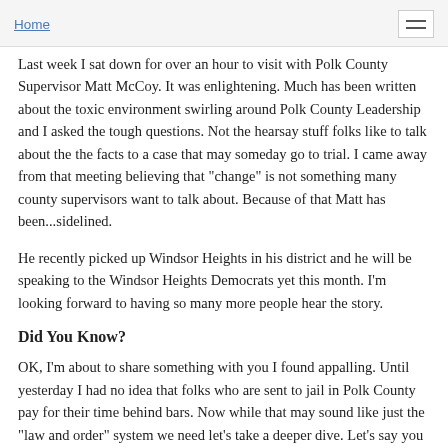Home
Last week I sat down for over an hour to visit with Polk County Supervisor Matt McCoy.  It was enlightening. Much has been written about the toxic environment swirling around Polk County Leadership and I asked the tough questions. Not the hearsay stuff folks like to talk about the the facts to a case that may someday go to trial. I came away from that meeting believing that "change" is not something many county supervisors want to talk about.  Because of that Matt has been...sidelined.
He recently picked up Windsor Heights in his district and he will be speaking to the Windsor Heights Democrats yet this month. I'm looking forward to having so many more people hear the story.
Did You Know?
OK, I'm about to share something with you I found appalling. Until yesterday I had no idea that folks who are sent to jail in Polk County pay for their time behind bars. Now while that may sound like just the "law and order" system we need let's take a deeper dive. Let's say you are picked up for some infraction